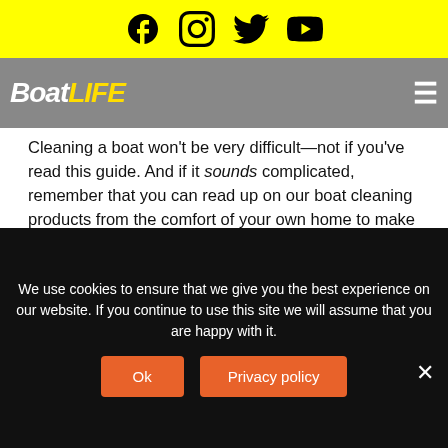[Figure (screenshot): Yellow top navigation bar with social media icons: Facebook, Instagram, Twitter, YouTube]
[Figure (logo): BoatLIFE logo on gray navigation bar with hamburger menu icon]
Cleaning a boat won't be very difficult—not if you've read this guide. And if it sounds complicated, remember that you can read up on our boat cleaning products from the comfort of your own home to make life much simpler.
SHARE THIS:
[Figure (other): Two circular social share buttons: Twitter (blue) and Facebook (blue)]
We use cookies to ensure that we give you the best experience on our website. If you continue to use this site we will assume that you are happy with it.